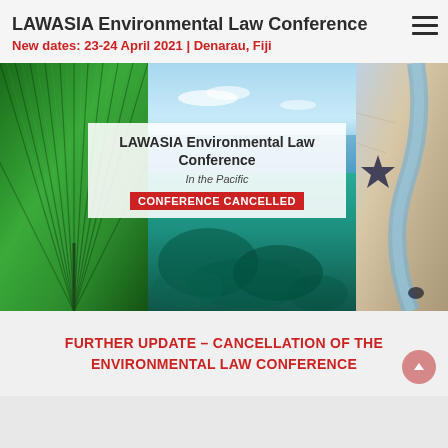LAWASIA Environmental Law Conference
New dates: 23-24 April 2021 | Denarau, Fiji
[Figure (photo): Composite image: palm leaf (left), blue sky and ocean (center top), underwater coral reef (center bottom), aerial coastal view with starfish (right). Overlaid text box reads: LAWASIA Environmental Law Conference / In the Pacific / CONFERENCE CANCELLED]
FURTHER UPDATE – CANCELLATION OF THE ENVIRONMENTAL LAW CONFERENCE